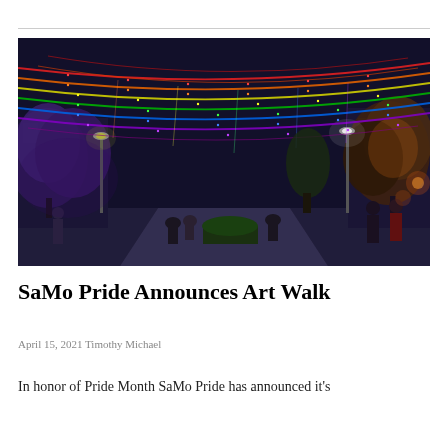[Figure (photo): Night-time street scene with rainbow LED string lights draped overhead along a pedestrian mall, trees lit with colorful lights, people sitting and walking, shops on both sides.]
SaMo Pride Announces Art Walk
April 15, 2021 Timothy Michael
In honor of Pride Month SaMo Pride has announced it's